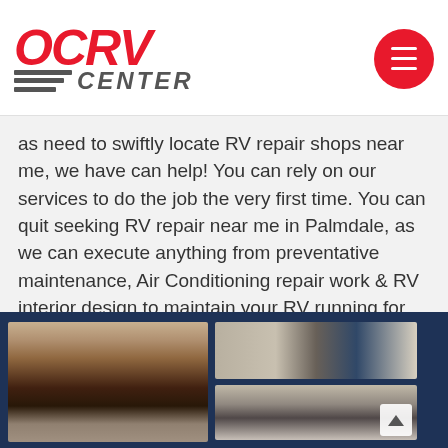OC RV CENTER
as need to swiftly locate RV repair shops near me, we have can help! You can rely on our services to do the job the very first time. You can quit seeking RV repair near me in Palmdale, as we can execute anything from preventative maintenance, Air Conditioning repair work & RV interior design to maintain your RV running for years to find.
[Figure (photo): RV vehicle front view stripped of exterior panels in a repair shop]
[Figure (photo): RV vehicle side view in repair shop with ladder nearby]
[Figure (photo): RV vehicle front windshield view in repair shop]